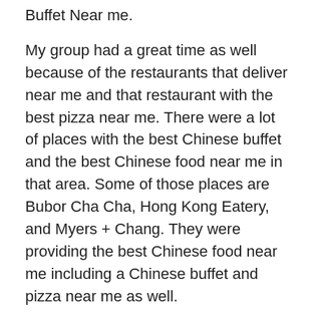Buffet Near me.
My group had a great time as well because of the restaurants that deliver near me and that restaurant with the best pizza near me. There were a lot of places with the best Chinese buffet and the best Chinese food near me in that area. Some of those places are Bubor Cha Cha, Hong Kong Eatery, and Myers + Chang. They were providing the best Chinese food near me including a Chinese buffet and pizza near me as well.
All the restaurants at that place were best in the taste, and in the service as well. I have been sharing the best places to eat near me with my friends. The Q Restaurant was also a good Chinese restaurant on the list of seafood restaurants near me as well. I am glad to share that